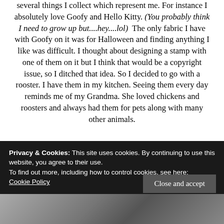several things I collect which represent me. For instance I absolutely love Goofy and Hello Kitty. (You probably think I need to grow up but....hey....lol)  The only fabric I have with Goofy on it was for Halloween and finding anything I like was difficult. I thought about designing a stamp with one of them on it but I think that would be a copyright issue, so I ditched that idea. So I decided to go with a rooster. I have them in my kitchen. Seeing them every day reminds me of my Grandma. She loved chickens and roosters and always had them for pets along with many other animals.
Privacy & Cookies: This site uses cookies. By continuing to use this website, you agree to their use.
To find out more, including how to control cookies, see here:
Cookie Policy
Close and accept
[Figure (photo): Bottom strip showing what appears to be a photo, partially visible]